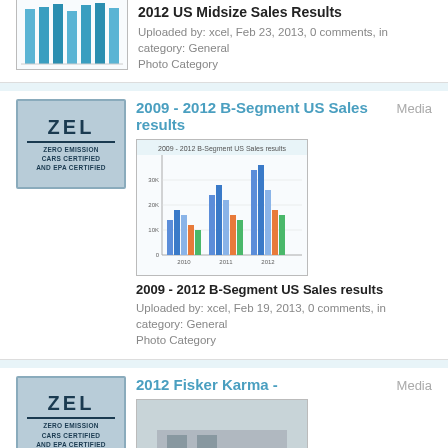[Figure (bar-chart): Partial bar chart thumbnail - 2012 US Midsize Sales Results]
2012 US Midsize Sales Results
Uploaded by: xcel, Feb 23, 2013, 0 comments, in category: General Photo Category
2009 - 2012 B-Segment US Sales results
[Figure (grouped-bar-chart): Grouped bar chart thumbnail - 2009-2012 B-Segment US Sales results]
2009 - 2012 B-Segment US Sales results
Uploaded by: xcel, Feb 19, 2013, 0 comments, in category: General Photo Category
2012 Fisker Karma -
[Figure (photo): Photo of Fisker Karma car with person standing next to it]
2012 Fisker Karma - 1895 Era Driver
Uploaded by: xcel, Feb 16, 2013, 0 comments, in category: Review